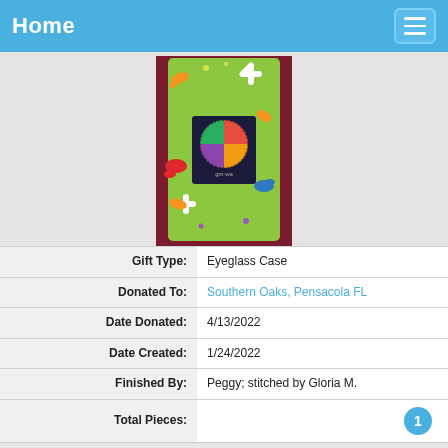Home
[Figure (photo): Photo of an eyeglass case with a colorful splatter/daisy pattern green fabric exterior and a cross-stitched circular multicolor design patch on a dark background in the center]
| Gift Type: | Eyeglass Case |
| Donated To: | Southern Oaks, Pensacola FL |
| Date Donated: | 4/13/2022 |
| Date Created: | 1/24/2022 |
| Finished By: | Peggy; stitched by Gloria M. |
| Total Pieces: | 1 |